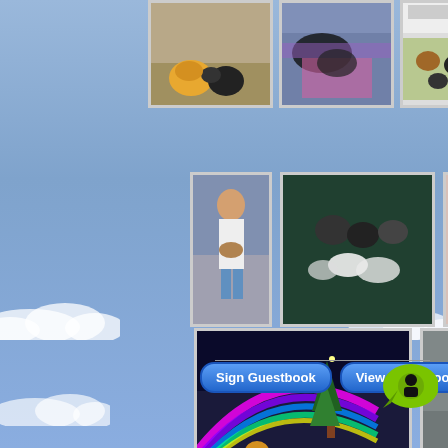[Figure (photo): Row of cat photos at top: two cats on wood deck, cat with colorful blanket, collage of cats]
[Figure (photo): Row of cat photos middle: child holding cat, kittens on white surface, black and orange cats cuddling]
[Figure (photo): Row of cat photos bottom: rainbow bridge fantasy cat image, cat on floor indoors]
[Figure (illustration): Green speech bubble chat icon with person silhouette]
Sign Guestbook
View Guestbook